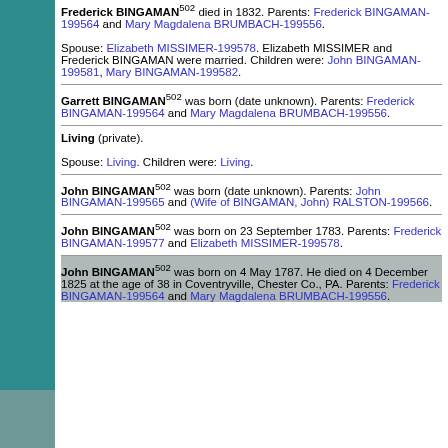Frederick BINGAMAN[502] died in 1832. Parents: Frederick BINGAMAN-199564 and Mary Magdalena BRUMBACH-199556. Spouse: Elizabeth MISSIMER-199578. Elizabeth MISSIMER and Frederick BINGAMAN were married. Children were: John BINGAMAN-199581, Mary BINGAMAN-199582.
Garrett BINGAMAN[502] was born (date unknown). Parents: Frederick BINGAMAN-199564 and Mary Magdalena BRUMBACH-199556.
Living (private). Spouse: Living. Children were: Living.
John BINGAMAN[502] was born (date unknown). Parents: John BINGAMAN-199565 and (Wife of BINGAMAN, John) RALSTON-199566.
John BINGAMAN[502] was born on 23 September 1783. Parents: Frederick BINGAMAN-199577 and Elizabeth MISSIMER-199578.
John BINGAMAN[502] was born on 4 May 1787. He died on 4 December 1825 at the age of 38 in Coventryville, Chester Co., PA. Parents: Frederick BINGAMAN-199564 and Mary Magdalena BRUMBACH-199556.